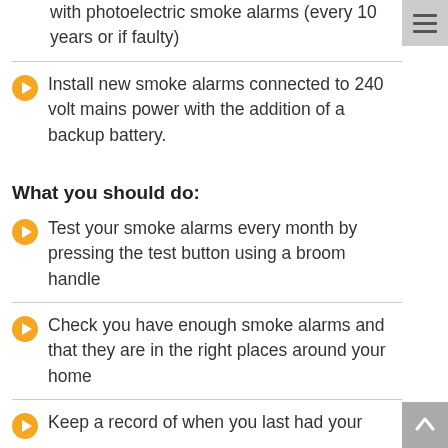with photoelectric smoke alarms (every 10 years or if faulty)
Install new smoke alarms connected to 240 volt mains power with the addition of a backup battery.
What you should do:
Test your smoke alarms every month by pressing the test button using a broom handle
Check you have enough smoke alarms and that they are in the right places around your home
Keep a record of when you last had your